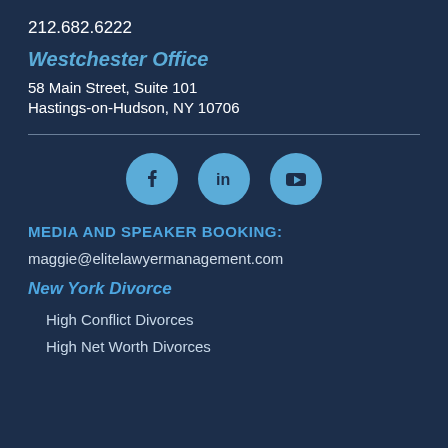212.682.6222
Westchester Office
58 Main Street, Suite 101
Hastings-on-Hudson, NY 10706
[Figure (infographic): Three social media icons: Facebook, LinkedIn, YouTube]
MEDIA AND SPEAKER BOOKING:
maggie@elitelawyermanagement.com
New York Divorce
High Conflict Divorces
High Net Worth Divorces